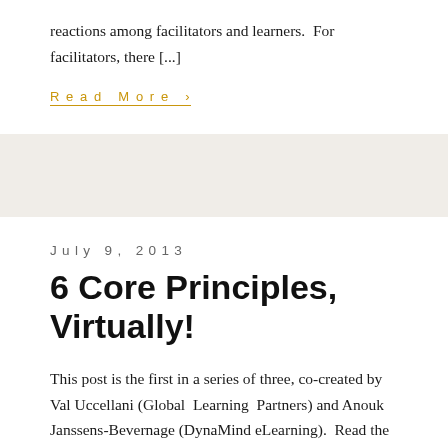reactions among facilitators and learners.  For facilitators, there [...]
Read More >
July 9, 2013
6 Core Principles, Virtually!
This post is the first in a series of three, co-created by Val Uccellani (Global Learning Partners) and Anouk Janssens-Bevernage (DynaMind eLearning).  Read the other two posts in this series: 3 Things Seasoned Facilitators Can Learn From E-Facilitation and 5 Ways